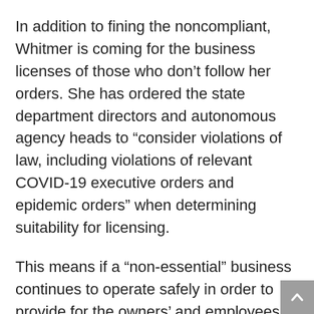In addition to fining the noncompliant, Whitmer is coming for the business licenses of those who don’t follow her orders. She has ordered the state department directors and autonomous agency heads to “consider violations of law, including violations of relevant COVID-19 executive orders and epidemic orders” when determining suitability for licensing.
This means if a “non-essential” business continues to operate safely in order to provide for the owners’ and employees’ families, despite the current legal structure prohibiting them from doing so, the state could shut them down forever. I guess it’s better to shut up and collect unemployment than risk losing your livelihood by continuing to operate, no matter